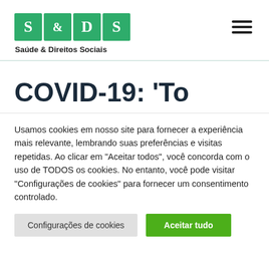[Figure (logo): S & D S logo tiles in green with text 'Saúde & Direitos Sociais' below]
COVID-19: 'To
Usamos cookies em nosso site para fornecer a experiência mais relevante, lembrando suas preferências e visitas repetidas. Ao clicar em "Aceitar todos", você concorda com o uso de TODOS os cookies. No entanto, você pode visitar "Configurações de cookies" para fornecer um consentimento controlado.
Configurações de cookies | Aceitar tudo